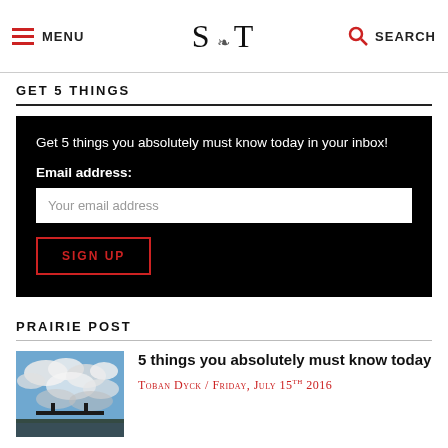MENU | S T (logo) | SEARCH
GET 5 THINGS
Get 5 things you absolutely must know today in your inbox!
Email address:
Your email address
SIGN UP
PRAIRIE POST
[Figure (photo): Outdoor landscape photo showing cloudy sky and a structure/bridge silhouette]
5 things you absolutely must know today
Toban Dyck / Friday, July 15th 2016